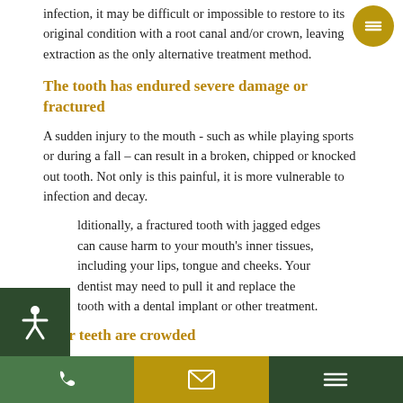infection, it may be difficult or impossible to restore to its original condition with a root canal and/or crown, leaving extraction as the only alternative treatment method.
The tooth has endured severe damage or fractured
A sudden injury to the mouth - such as while playing sports or during a fall – can result in a broken, chipped or knocked out tooth. Not only is this painful, it is more vulnerable to infection and decay.
Additionally, a fractured tooth with jagged edges can cause harm to your mouth's inner tissues, including your lips, tongue and cheeks. Your dentist may need to pull it and replace the tooth with a dental implant or other treatment.
Your teeth are crowded
Some teeth may erupt at different times, resulting in disproportionate growth. It's also possible that a tooth has
☎  ✉  ≡